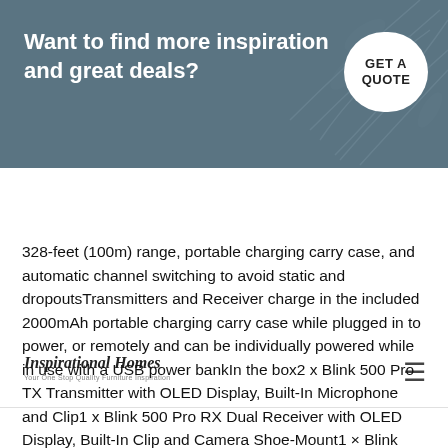Want to find more inspiration and great deals? GET A QUOTE
Inspirational Homes — Your One Stop Quality Furniture Inspiration
328-feet (100m) range, portable charging carry case, and automatic channel switching to avoid static and dropoutsTransmitters and Receiver charge in the included 2000mAh portable charging carry case while plugged in to power, or remotely and can be individually powered while in use with a USB power bankIn the box2 x Blink 500 Pro TX Transmitter with OLED Display, Built-In Microphone and Clip1 x Blink 500 Pro RX Dual Receiver with OLED Display, Built-In Clip and Camera Shoe-Mount1 × Blink 500 Pro B2 Portable Charging Carry Case2 x SR-M1 Omnidirectional Lavalier Microphone2 x Alligator-Style Lavalier Microphone Clip2 x Foam Lavalier Windscreen2 x Furry High-Wind Press-On